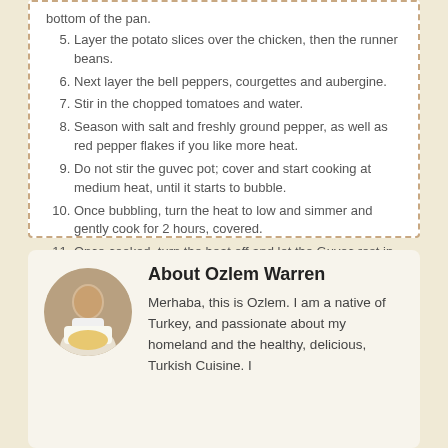bottom of the pan.
Layer the potato slices over the chicken, then the runner beans.
Next layer the bell peppers, courgettes and aubergine.
Stir in the chopped tomatoes and water.
Season with salt and freshly ground pepper, as well as red pepper flakes if you like more heat.
Do not stir the guvec pot; cover and start cooking at medium heat, until it starts to bubble.
Once bubbling, turn the heat to low and simmer and gently cook for 2 hours, covered.
Once cooked, turn the heat off and let the Guvec rest in the earthenware pot for 30 minutes. The flavors blend and settle deliciously. Check the seasoning and add more salt and ground black pepper if needed.
You can serve Tavuk guvec with these flavorful potato & bulgur patties and a dollop of plain yoghurt aside.
About Ozlem Warren
Merhaba, this is Ozlem. I am a native of Turkey, and passionate about my homeland and the healthy, delicious, Turkish Cuisine. I